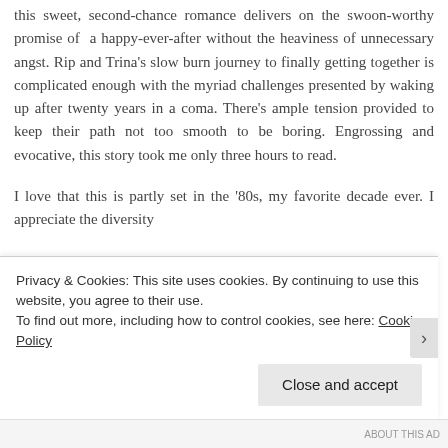this sweet, second-chance romance delivers on the swoon-worthy promise of a happy-ever-after without the heaviness of unnecessary angst. Rip and Trina's slow burn journey to finally getting together is complicated enough with the myriad challenges presented by waking up after twenty years in a coma. There's ample tension provided to keep their path not too smooth to be boring. Engrossing and evocative, this story took me only three hours to read.
I love that this is partly set in the '80s, my favorite decade ever. I appreciate the diversity
Privacy & Cookies: This site uses cookies. By continuing to use this website, you agree to their use.
To find out more, including how to control cookies, see here: Cookie Policy